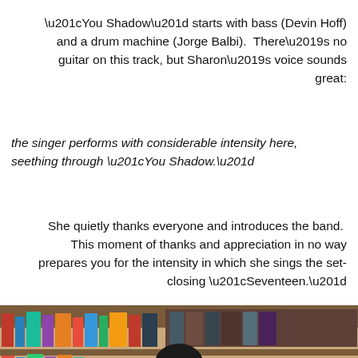“You Shadow” starts with bass (Devin Hoff) and a drum machine (Jorge Balbi).  There’s no guitar on this track, but Sharon’s voice sounds great:
the singer performs with considerable intensity here, seething through “You Shadow.”
She quietly thanks everyone and introduces the band.  This moment of thanks and appreciation in no way prepares you for the intensity in which she sings the set-closing “Seventeen.”
[Figure (photo): A young woman with short dark hair singing with her mouth open, holding a guitar, in front of a bookshelf with records/books visible in the background.]